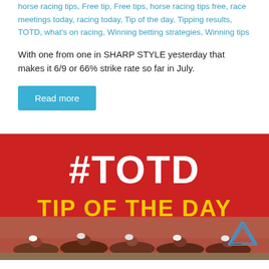horse racing tips, Free tip, Free tips, horse racing tips free, race meetings today, racing today, Tip of the day, Tipping results, TOTD, what's on racing, Winning betting strategies, Winning tips
With one from one in SHARP STYLE yesterday that makes it 6/9 or 66% strike rate so far in July.
Read more
[Figure (illustration): Red banner image with white bold text '#TOTD' and yellow bold text 'TIP OF THE DAY' below it, with a horse racing photo at the bottom showing jockeys racing]